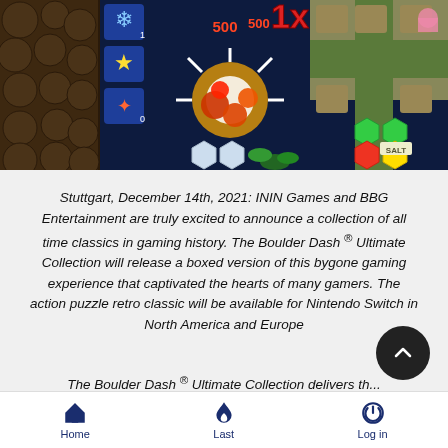[Figure (screenshot): A video game screenshot showing Boulder Dash gameplay with colorful gems, explosions, a '1x' multiplier, score '500', dark cave walls, and a sandy/teal level area with hexagonal gems.]
Stuttgart, December 14th, 2021: ININ Games and BBG Entertainment are truly excited to announce a collection of all time classics in gaming history. The Boulder Dash® Ultimate Collection will release a boxed version of this bygone gaming experience that captivated the hearts of many gamers. The action puzzle retro classic will be available for Nintendo Switch in North America and Europe
The Boulder Dash® Ultimate Collection delivers th...
Home   Last   Log in